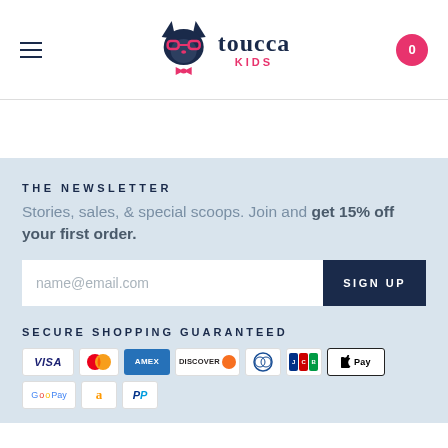Toucca Kids — navigation header with hamburger menu, logo, and cart (0)
THE NEWSLETTER
Stories, sales, & special scoops. Join and get 15% off your first order.
name@email.com [input field] SIGN UP
SECURE SHOPPING GUARANTEED
[Figure (infographic): Payment icons: Visa, Mastercard, Amex, Discover, Diners Club, JCB, Apple Pay, Google Pay, Amazon Pay, PayPal]